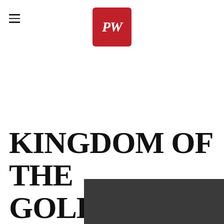PW (Publishers Weekly logo)
KINGDOM OF THE GOLDEN